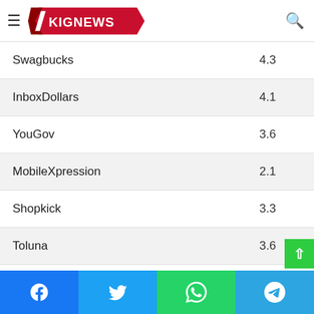KIGNEWS
| Name | Rating |
| --- | --- |
| Swagbucks | 4.3 |
| InboxDollars | 4.1 |
| YouGov | 3.6 |
| MobileXpression | 2.1 |
| Shopkick | 3.3 |
| Toluna | 3.6 |
| National Consumer Panel | 3.0 |
| Bananatic | 4.8 |
Facebook Twitter WhatsApp Telegram